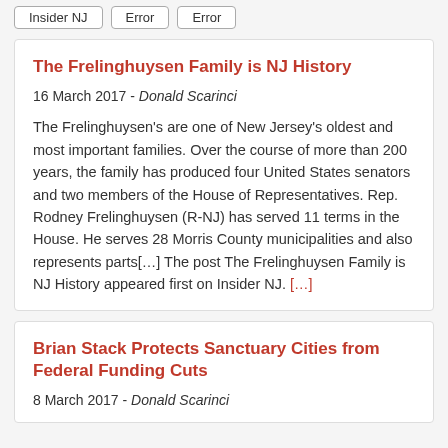Insider NJ | Error | Error
The Frelinghuysen Family is NJ History
16 March 2017 - Donald Scarinci
The Frelinghuysen’s are one of New Jersey’s oldest and most important families. Over the course of more than 200 years, the family has produced four United States senators and two members of the House of Representatives. Rep. Rodney Frelinghuysen (R-NJ) has served 11 terms in the House. He serves 28 Morris County municipalities and also represents parts[…] The post The Frelinghuysen Family is NJ History appeared first on Insider NJ. […]
Brian Stack Protects Sanctuary Cities from Federal Funding Cuts
8 March 2017 - Donald Scarinci